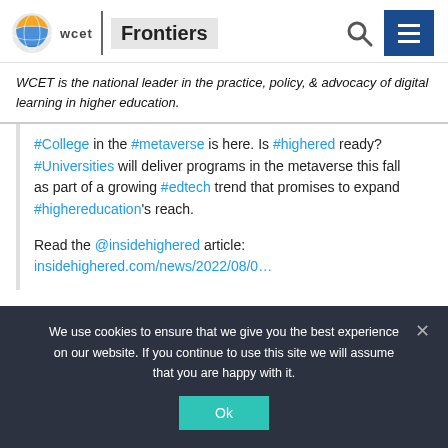wcet Frontiers
WCET is the national leader in the practice, policy, & advocacy of digital learning in higher education.
#College in the #metaverse is here. Is #highered ready? #Universities will deliver programs in the metaverse this fall as part of a growing #edtech trend that promises to expand #highereducation's reach.

Read the @insidehighered article: insidehighered.com/news/2022/08/0...
We use cookies to ensure that we give you the best experience on our website. If you continue to use this site we will assume that you are happy with it.